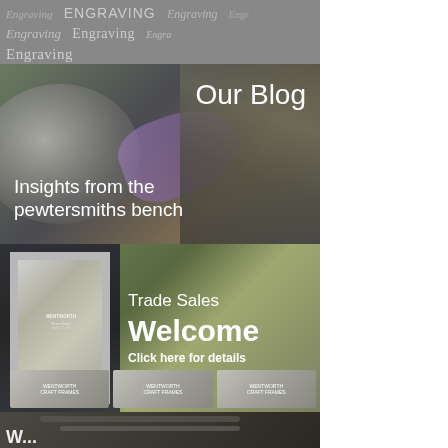[Figure (illustration): Banner with 'Engraving' written in multiple fonts and styles on a grey background]
[Figure (photo): Photo of a pewtersmith using a blowtorch on a metal bowl with text overlay: 'Our Blog' and 'Insights from the pewtersmiths bench']
[Figure (photo): Photo of pewter picture frames and products with text overlay: 'Trade Sales Welcome Click here for details']
[Figure (photo): Partial photo at bottom showing a pewtersmith at work, partially visible with white text beginning]